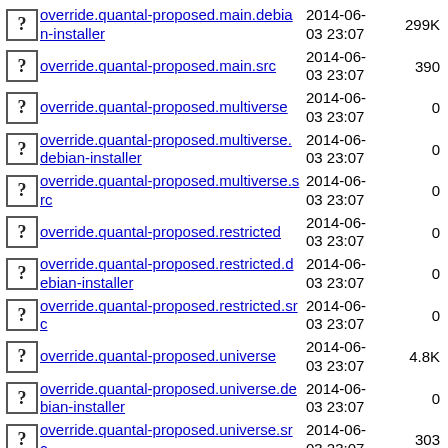override.quantal-proposed.main.debian-installer  2014-06-03 23:07  299K
override.quantal-proposed.main.src  2014-06-03 23:07  390
override.quantal-proposed.multiverse  2014-06-03 23:07  0
override.quantal-proposed.multiverse.debian-installer  2014-06-03 23:07  0
override.quantal-proposed.multiverse.src  2014-06-03 23:07  0
override.quantal-proposed.restricted  2014-06-03 23:07  0
override.quantal-proposed.restricted.debian-installer  2014-06-03 23:07  0
override.quantal-proposed.restricted.src  2014-06-03 23:07  0
override.quantal-proposed.universe  2014-06-03 23:07  4.8K
override.quantal-proposed.universe.debian-installer  2014-06-03 23:07  0
override.quantal-proposed.universe.src  2014-06-03 23:07  303
override.quantal-proposed... (partial)  2014-06-...